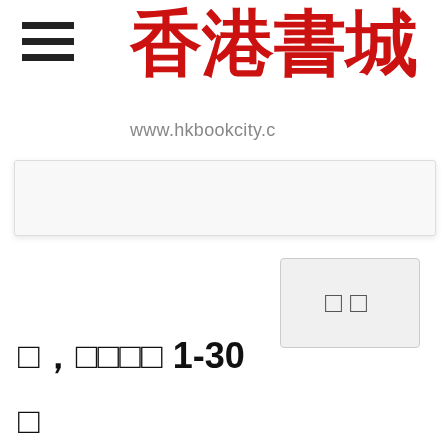[Figure (screenshot): Hamburger menu icon with three horizontal black bars]
香港書城
www.hkbookcity.c
[Figure (screenshot): White search bar / input box]
[Figure (screenshot): Grey button with two CJK placeholder characters (□□)]
□, □□□□ 1-30
[Figure (screenshot): Grey button with six CJK placeholder characters (□□□□□□)]
□